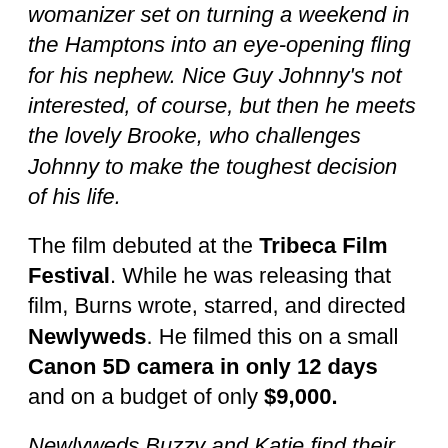womanizer set on turning a weekend in the Hamptons into an eye-opening fling for his nephew. Nice Guy Johnny's not interested, of course, but then he meets the lovely Brooke, who challenges Johnny to make the toughest decision of his life.
The film debuted at the Tribeca Film Festival. While he was releasing that film, Burns wrote, starred, and directed Newlyweds. He filmed this on a small Canon 5D camera in only 12 days and on a budget of only $9,000.
Newlyweds Buzzy and Katie find their blissful life disrupted by the arrival of his half-sister and news of her sister's marriage troubles.